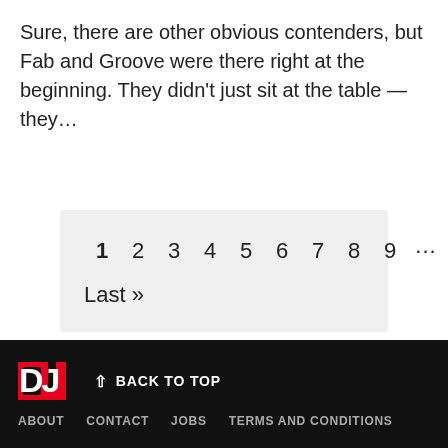Sure, there are other obvious contenders, but Fab and Groove were there right at the beginning. They didn't just sit at the table — they...
1  2  3  4  5  6  7  8  9  ...  >>  Last »
DJ Mag — BACK TO TOP | ABOUT  CONTACT  JOBS  TERMS AND CONDITIONS